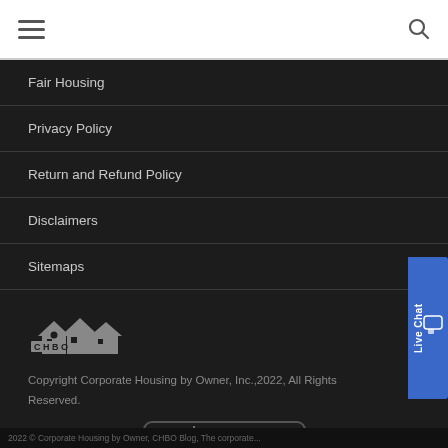Navigation menu header with hamburger icon and search icon
Fair Housing
Privacy Policy
Return and Refund Policy
Disclaimers
Sitemaps
[Figure (logo): CHBO (Corporate Housing by Owner) logo with house silhouettes]
Copyright Corporate Housing by Owner, Inc.,2022, All Rights Reserved.
[Figure (logo): Secured by instantSSL badge]
2022 © Corporate Housing by Owner, CHBO Blog, The corporate...